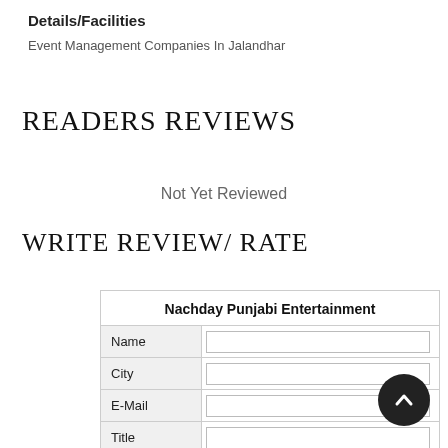Details/Facilities
Event Management Companies In Jalandhar
READERS REVIEWS
Not Yet Reviewed
WRITE REVIEW/ RATE
|  | Nachday Punjabi Entertainment |
| --- | --- |
| Name |  |
| City |  |
| E-Mail |  |
| Title |  |
|  |  |